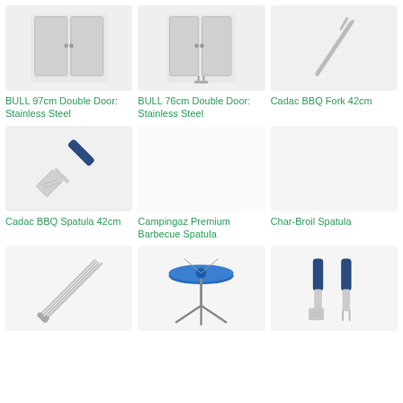[Figure (photo): BULL 97cm Double Door Stainless Steel cabinet product photo]
BULL 97cm Double Door: Stainless Steel
[Figure (photo): BULL 76cm Double Door Stainless Steel cabinet product photo]
BULL 76cm Double Door: Stainless Steel
[Figure (photo): Cadac BBQ Fork 42cm product photo]
Cadac BBQ Fork 42cm
[Figure (photo): Cadac BBQ Spatula 42cm product photo with blue handle]
Cadac BBQ Spatula 42cm
[Figure (photo): Campingaz Premium Barbecue Spatula product photo (blank/white box)]
Campingaz Premium Barbecue Spatula
[Figure (photo): Char-Broil Spatula product photo (blank/white box)]
Char-Broil Spatula
[Figure (photo): BBQ skewers product photo - multiple metal skewers fanned out]
[Figure (photo): Blue circular BBQ stand/side table on tripod legs product photo]
[Figure (photo): BBQ spatula and fork set with blue handles product photo]